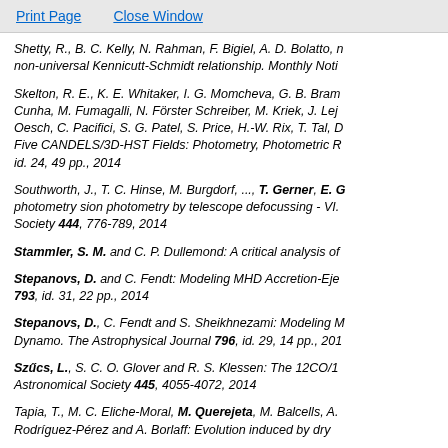Print Page   Close Window
Shetty, R., B. C. Kelly, N. Rahman, F. Bigiel, A. D. Bolatto, ... non-universal Kennicutt-Schmidt relationship. Monthly Noti...
Skelton, R. E., K. E. Whitaker, I. G. Momcheva, G. B. Bram... Cunha, M. Fumagalli, N. Förster Schreiber, M. Kriek, J. Lej... Oesch, C. Pacifici, S. G. Patel, S. Price, H.-W. Rix, T. Tal, D... Five CANDELS/3D-HST Fields: Photometry, Photometric R... id. 24, 49 pp., 2014
Southworth, J., T. C. Hinse, M. Burgdorf, ..., T. Gerner, E. G... photometry sion photometry by telescope defocussing - VI... Society 444, 776-789, 2014
Stammler, S. M. and C. P. Dullemond: A critical analysis of...
Stepanovs, D. and C. Fendt: Modeling MHD Accretion-Eje... 793, id. 31, 22 pp., 2014
Stepanovs, D., C. Fendt and S. Sheikhnezami: Modeling M... Dynamo. The Astrophysical Journal 796, id. 29, 14 pp., 2014
Szűcs, L., S. C. O. Glover and R. S. Klessen: The 12CO/1... Astronomical Society 445, 4055-4072, 2014
Tapia, T., M. C. Eliche-Moral, M. Querejeta, M. Balcells, A... Rodríguez-Pérez and A. Borlaff: Evolution induced by dry...